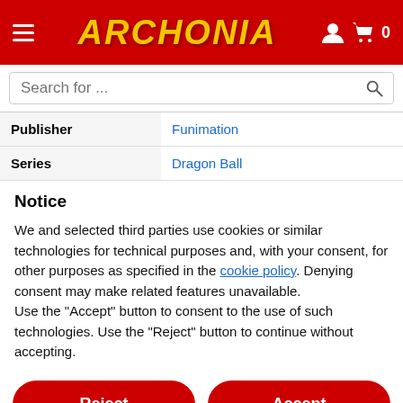[Figure (screenshot): Archonia website header with red background, hamburger menu, ARCHONIA logo in gold italic text, user icon, and cart icon with 0 items]
[Figure (screenshot): Search bar with placeholder text 'Search for ...' and magnifying glass icon]
| Publisher | Funimation |
| Series | Dragon Ball |
Notice
We and selected third parties use cookies or similar technologies for technical purposes and, with your consent, for other purposes as specified in the cookie policy. Denying consent may make related features unavailable.
Use the "Accept" button to consent to the use of such technologies. Use the "Reject" button to continue without accepting.
[Figure (screenshot): Reject and Accept buttons (red, pill-shaped) and Learn more and customize button (grey, pill-shaped)]